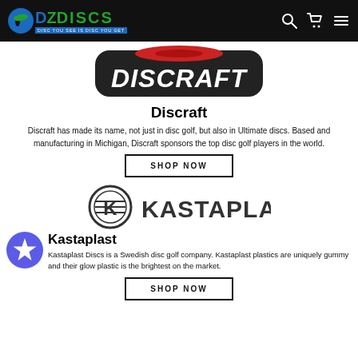DZ DISCS - DISC YOU SEE IS DISC YOU GET
[Figure (logo): Discraft brand logo with red disc and bold white italic DISCRAFT text on dark backing]
Discraft
Discraft has made its name, not just in disc golf, but also in Ultimate discs. Based and manufacturing in Michigan, Discraft sponsors the top disc golf players in the world.
SHOP NOW
[Figure (logo): Kastaplast logo with circular K emblem and bold dark KASTAPLAST text]
Kastaplast
Kastaplast Discs is a Swedish disc golf company. Kastaplast plastics are uniquely gummy and their glow plastic is the brightest on the market.
SHOP NOW